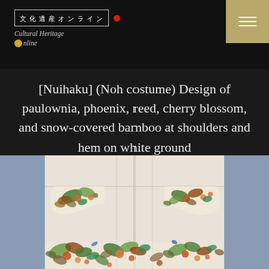文化遺産オンライン Cultural Heritage Online
[Nuihaku] (Noh costume) Design of paulownia, phoenix, reed, cherry blossom, and snow-covered bamboo at shoulders and hem on white ground
[Figure (photo): Photograph of a Nuihaku Noh costume laid flat, showing embroidered designs of paulownia, phoenix, reed, cherry blossom, and snow-covered bamboo on a white ground fabric, with floral and foliage patterns visible at the shoulders and hem areas.]